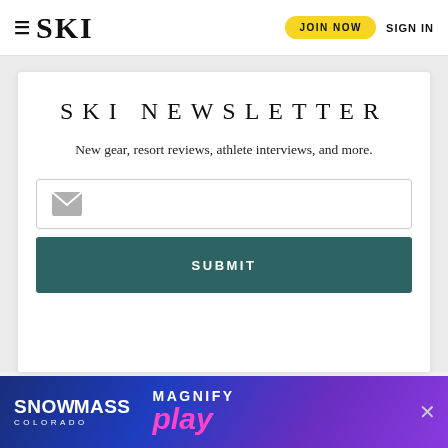SKI | JOIN NOW | SIGN IN
SKI NEWSLETTER
New gear, resort reviews, athlete interviews, and more.
[Figure (screenshot): Email input field with envelope icon]
SUBMIT
[Figure (illustration): Snowmass Colorado Magnify play advertisement banner]